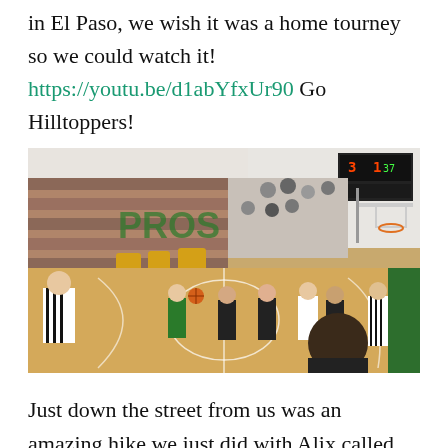in El Paso, we wish it was a home tourney so we could watch it! https://youtu.be/d1abYfxUr90 Go Hilltoppers!
[Figure (photo): Indoor basketball game in a gymnasium with green and yellow school colors. Players on court, referee on left, spectators in bleachers, scoreboard visible top right.]
Just down the street from us was an amazing hike we just did with Alix called “Deer Trap” due to the small “traps” the Native Americans made and lured deer into. This hike